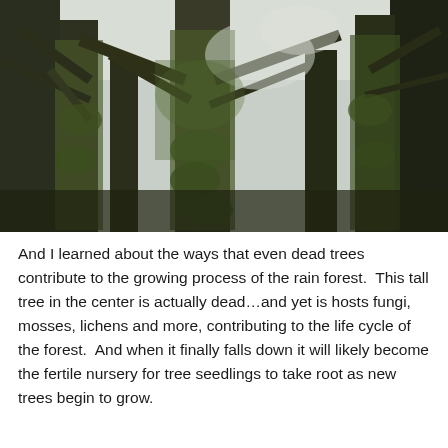[Figure (photo): Upward-looking photograph of tall moss-covered trees in a temperate rain forest. The trees have thick trunks draped heavily in green moss and lichen, with bare and gnarled branches spreading outward. The sky is overcast and pale. The forest appears dense and ancient.]
And I learned about the ways that even dead trees contribute to the growing process of the rain forest.  This tall tree in the center is actually dead...and yet is hosts fungi, mosses, lichens and more, contributing to the life cycle of the forest.  And when it finally falls down it will likely become the fertile nursery for tree seedlings to take root as new trees begin to grow.